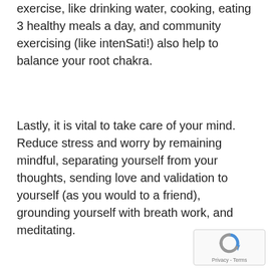exercise, like drinking water, cooking, eating 3 healthy meals a day, and community exercising (like intenSati!) also help to balance your root chakra.
Lastly, it is vital to take care of your mind. Reduce stress and worry by remaining mindful, separating yourself from your thoughts, sending love and validation to yourself (as you would to a friend), grounding yourself with breath work, and meditating.
[Figure (logo): Google reCAPTCHA logo with Privacy - Terms footer text]